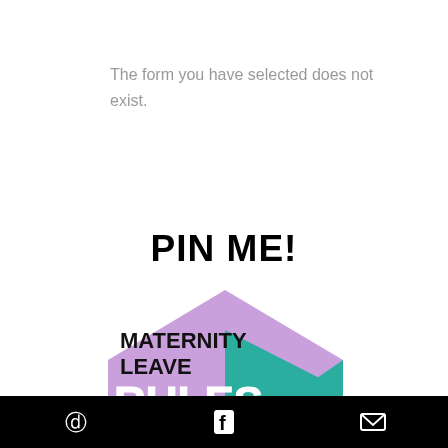The form you have selected does not exist.
PIN ME!
[Figure (illustration): Pinterest-style card for 'Maternity Leave Rules for the modern mom' with a purple house shape, teal triangle, bold white RULES text, and photo of mother and baby]
Pinterest icon | Facebook icon | Email icon